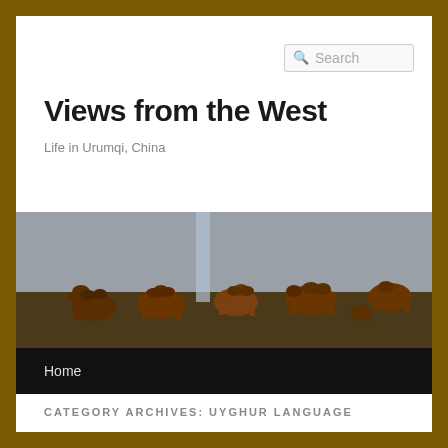Views from the West
Life in Urumqi, China
[Figure (photo): A herd of Bactrian camels grazing on a flat, dry landscape with a pale blue sky and a light-colored vertical structure (wind turbine or pole) visible in the background.]
Home
CATEGORY ARCHIVES: UYGHUR LANGUAGE